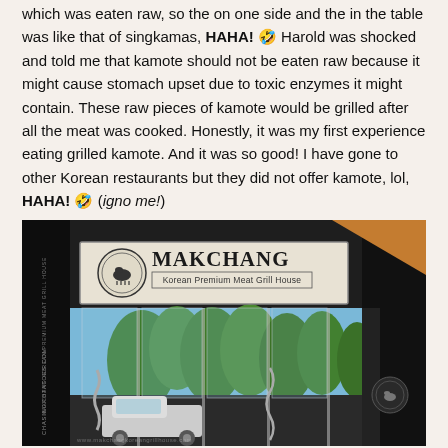which was eaten raw, so the on one side and the in the table was like that of singkamas, HAHA! 🤣 Harold was shocked and told me that kamote should not be eaten raw because it might cause stomach upset due to toxic enzymes it might contain. These raw pieces of kamote would be grilled after all the meat was cooked. Honestly, it was my first experience eating grilled kamote. And it was so good! I have gone to other Korean restaurants but they did not offer kamote, lol, HAHA! 🤣 (igno me!)
[Figure (photo): Exterior photo of Makchang Korean Premium Meat Grill House restaurant. The sign shows the restaurant name 'MAKCHANG' in large bold letters with a logo of a cow in a circle, and subtitle 'Korean Premium Meat Grill House'. The storefront has glass panels, metal rods/pipes, trees visible in the background, a white pickup truck parked in front, and a dark exterior. A vertical text watermark on the left side reads 'CHASINGPOTATOES.COM MAKCHANG KOREAN PREMIUM MEAT GRILL HOUSE'.]